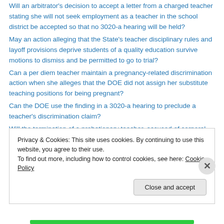Will an arbitrator's decision to accept a letter from a charged teacher stating she will not seek employment as a teacher in the school district be accepted so that no 3020-a hearing will be held?
May an action alleging that the State's teacher disciplinary rules and layoff provisions deprive students of a quality education survive motions to dismiss and be permitted to go to trial?
Can a per diem teacher maintain a pregnancy-related discrimination action when she alleges that the DOE did not assign her substitute teaching positions for being pregnant?
Can the DOE use the finding in a 3020-a hearing to preclude a teacher's discrimination claim?
Will the termination of a probationary teacher, accused of corporal punishment for pulling an autistic student back into her classroom, be upheld?
Privacy & Cookies: This site uses cookies. By continuing to use this website, you agree to their use.
To find out more, including how to control cookies, see here: Cookie Policy